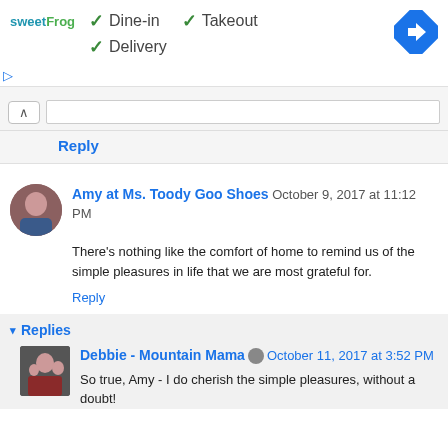[Figure (logo): sweetFrog logo in teal and green text]
✓ Dine-in  ✓ Takeout
✓ Delivery
[Figure (other): Blue diamond navigation arrow icon]
Reply
Amy at Ms. Toody Goo Shoes October 9, 2017 at 11:12 PM
There's nothing like the comfort of home to remind us of the simple pleasures in life that we are most grateful for.
Reply
▾ Replies
Debbie - Mountain Mama  October 11, 2017 at 3:52 PM
So true, Amy - I do cherish the simple pleasures, without a doubt!